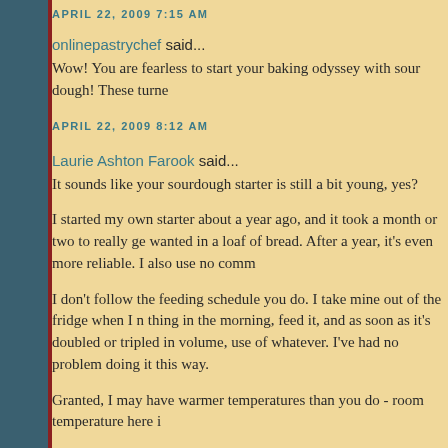APRIL 22, 2009 7:15 AM
onlinepastrychef said...
Wow! You are fearless to start your baking odyssey with sour dough! These turne
APRIL 22, 2009 8:12 AM
Laurie Ashton Farook said...
It sounds like your sourdough starter is still a bit young, yes?
I started my own starter about a year ago, and it took a month or two to really ge wanted in a loaf of bread. After a year, it's even more reliable. I also use no comm
I don't follow the feeding schedule you do. I take mine out of the fridge when I n thing in the morning, feed it, and as soon as it's doubled or tripled in volume, use of whatever. I've had no problem doing it this way.
Granted, I may have warmer temperatures than you do - room temperature here i
Good luck with your sourdough! It only gets better!
APRIL 22, 2009 8:21 AM